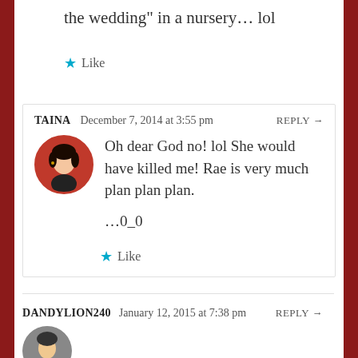the wedding” in a nursery… lol
★ Like
TAINA   December 7, 2014 at 3:55 pm   REPLY →
[Figure (photo): Circular avatar of a woman with dark hair covering her mouth with hand, red border]
Oh dear God no! lol She would have killed me! Rae is very much plan plan plan.

⋯0_0

★ Like
DANDYLION240   January 12, 2015 at 7:38 pm   REPLY →